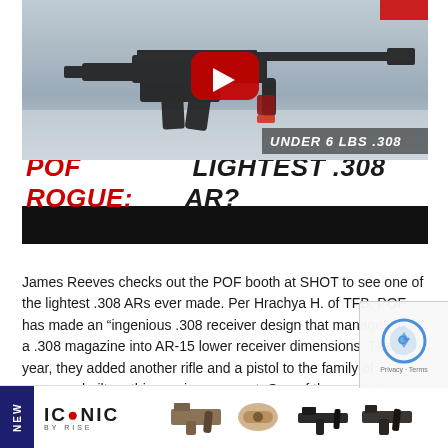[Figure (screenshot): YouTube video thumbnail showing a POF Rogue .308 AR rifle on a white surface. A red YouTube play button is centered. Text overlay reads 'UNDER 6 LBS .308'. Below the image area, a title reads 'POF ROGUE: LIGHTEST .308 AR?' in red and black bold italic text, followed by a black bar.]
James Reeves checks out the POF booth at SHOT to see one of the lightest .308 ARs ever made. Per Hrachya H. of TFB, POF has made an “ingenious .308 receiver design that manages to fit a .308 magazine into AR-15 lower receiver dimensions. This year, they added another rifle and a pistol to the family of weapons built on this receiver concept. One of the goals of designing the new series of firearms was to create the lightest .308 guns witho... sacrificin... lbs for th... pistol
[Figure (advertisement): Bottom overlay advertisement for 'ICONIC BY RISE' showing a dark blue NEW badge on the left, the ICONIC logo in bold text, and silhouettes of gun components/triggers on the right.]